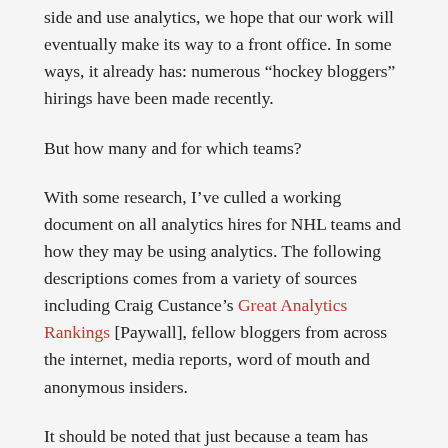side and use analytics, we hope that our work will eventually make its way to a front office. In some ways, it already has: numerous “hockey bloggers” hirings have been made recently.
But how many and for which teams?
With some research, I’ve culled a working document on all analytics hires for NHL teams and how they may be using analytics. The following descriptions comes from a variety of sources including Craig Custance’s Great Analytics Rankings [Paywall], fellow bloggers from across the internet, media reports, word of mouth and anonymous insiders.
It should be noted that just because a team has made an “analytics hiring”, it doesn’t necessarily mean that they value their input or use the analysis provided properly. In fact, hires can be made simply for PR reasons, and some teams may even give analytics tasks